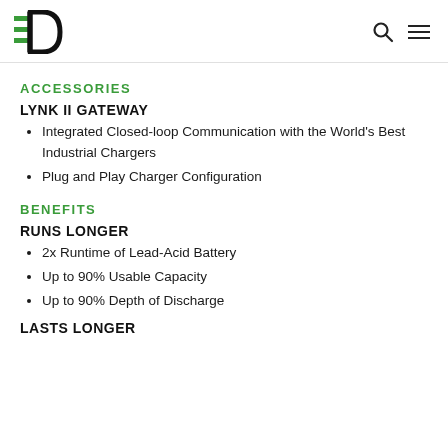Logo and navigation icons
ACCESSORIES
LYNK II GATEWAY
Integrated Closed-loop Communication with the World's Best Industrial Chargers
Plug and Play Charger Configuration
BENEFITS
RUNS LONGER
2x Runtime of Lead-Acid Battery
Up to 90% Usable Capacity
Up to 90% Depth of Discharge
LASTS LONGER